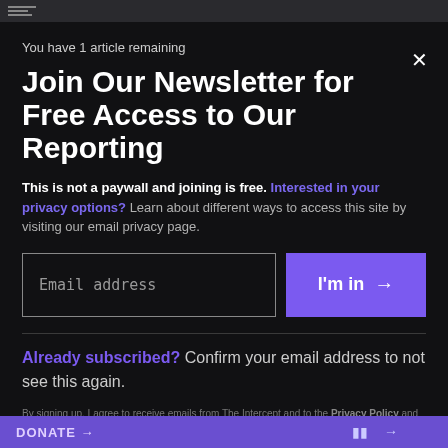The Intercept logo bar
You have 1 article remaining
Join Our Newsletter for Free Access to Our Reporting
This is not a paywall and joining is free. Interested in your privacy options? Learn about different ways to access this site by visiting our email privacy page.
Email address
I'm in →
Already subscribed? Confirm your email address to not see this again.
By signing up, I agree to receive emails from The Intercept and to the Privacy Policy and Terms of Use.
DONATE →